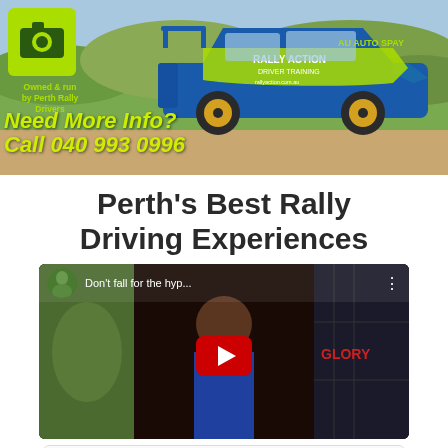[Figure (photo): Rally Action Driver Training banner with blue Subaru Impreza rally car on dirt track, green logo top-left, text 'Owned & run by Perth Rally Drivers', yellow-green text 'Need More Info? Call 040 993 0996']
Perth's Best Rally Driving Experiences
[Figure (screenshot): YouTube video embed thumbnail showing a man in blue jacket, video title 'Don't fall for the hyp...' with circular avatar thumbnail, YouTube play button overlay]
[Figure (other): Partial card or box at the bottom of page]